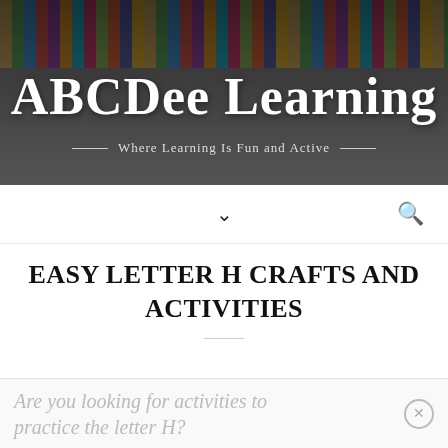[Figure (photo): Header banner with colorful school supplies (pencils, markers, scissors, paper clips) on a dark chalkboard background with the site title 'ABCDee Learning' and tagline 'Where Learning Is Fun and Active']
ABCDee Learning
Where Learning Is Fun and Active
EASY LETTER H CRAFTS AND ACTIVITIES
Are you looking for activities to practice the letter H?